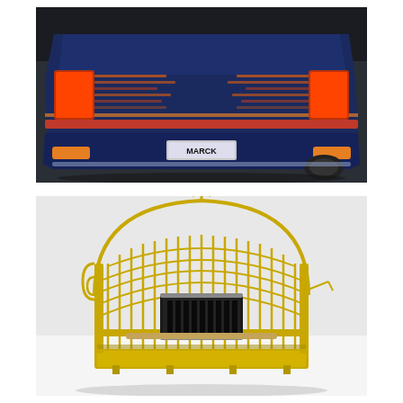[Figure (photo): Rear view of a dark navy blue car (licence plate reads MARCK) with red striping along the side, tail lights illuminated in orange, photographed from behind at an angle on a dark asphalt surface.]
[Figure (photo): A gold/yellow wire birdcage with a dome-shaped top, photographed on a white surface against a light grey background. The cage contains a dark-colored bird feeder accessory and a wooden perch.]